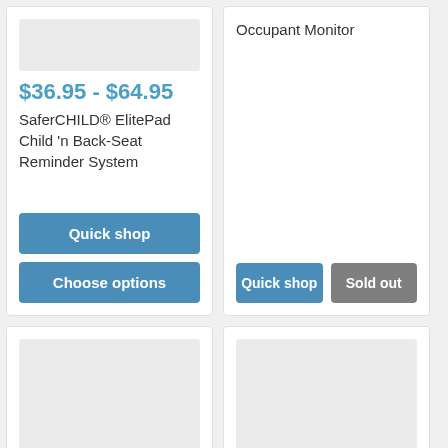$36.95 - $64.95
SaferCHILD® ElitePad Child 'n Back-Seat Reminder System
Quick shop
Choose options
Occupant Monitor
Quick shop
Sold out
[Figure (other): Product image placeholder (light gray box) for bottom-left card]
[Figure (other): Product image placeholder (light gray box) for bottom-right card]